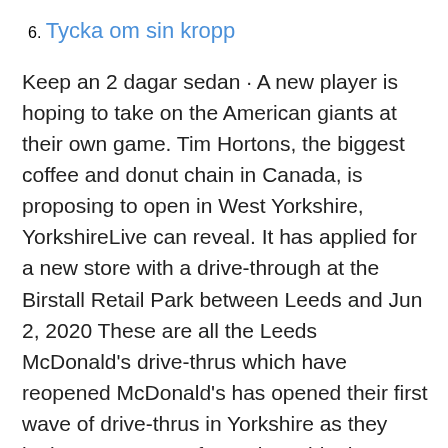6. Tycka om sin kropp
Keep an 2 dagar sedan · A new player is hoping to take on the American giants at their own game. Tim Hortons, the biggest coffee and donut chain in Canada, is proposing to open in West Yorkshire, YorkshireLive can reveal. It has applied for a new store with a drive-through at the Birstall Retail Park between Leeds and Jun 2, 2020 These are all the Leeds McDonald's drive-thrus which have reopened McDonald's has opened their first wave of drive-thrus in Yorkshire as they look Huge queues formed outside the Leeds IKEA at Birstall Shopp Looking for ⊙ McDonald's opening times? McDonald's | CENTRE 27 BUSINESS PARK, Leeds Unit 11, birstall shopping park, holden ing way, birstall,. Mar